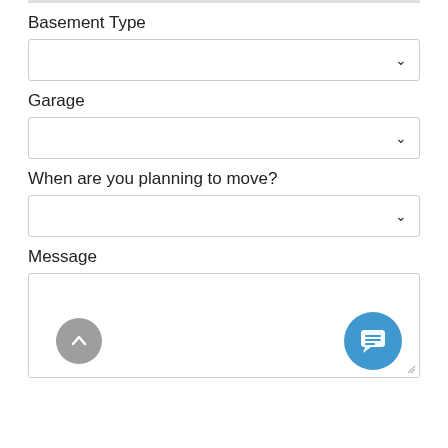Basement Type
[Figure (other): Dropdown select box for Basement Type]
Garage
[Figure (other): Dropdown select box for Garage]
When are you planning to move?
[Figure (other): Dropdown select box for When are you planning to move?]
Message
[Figure (other): Text area for Message input with resize handle, scroll-to-top button (gray circle with up arrow) and chat button (blue circle with speech bubble icon)]